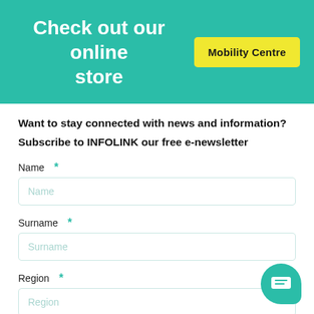Check out our online store  Mobility Centre
Want to stay connected with news and information?
Subscribe to INFOLINK our free e-newsletter
Name *
Name
Surname *
Surname
Region *
Region